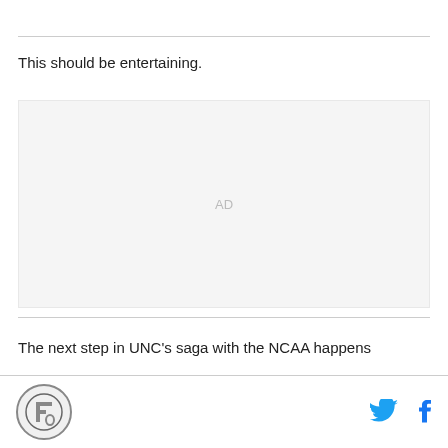This should be entertaining.
[Figure (other): Advertisement placeholder area with 'AD' label in light gray on light background]
The next step in UNC's saga with the NCAA happens
Logo icon and social media icons (Twitter, Facebook)